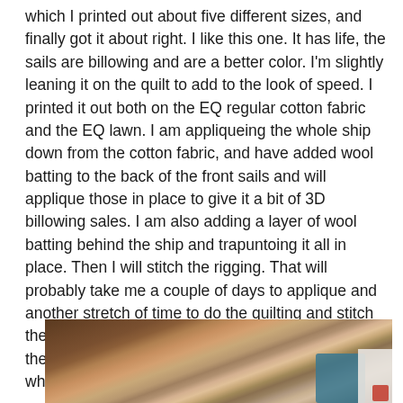which I printed out about five different sizes, and finally got it about right.  I like this one. It has life, the sails are billowing and are a better color.  I'm slightly leaning it on the quilt to add to the look of speed.  I printed it out both on the EQ regular cotton fabric and the EQ lawn.  I am appliqueing the whole ship down from the cotton fabric, and have added wool batting to the back of the front sails and will applique those in place to give it a bit of 3D billowing sales.  I am also adding a layer of wool batting behind the ship and trapuntoing it all in place.  Then I will stitch the rigging.  That will probably take me a couple of days to applique and another stretch of time to do the quilting and stitch the rigging.  Here is my machine stitching around the stones and stone steps up to the platform where the woman and her daughter will stand.
[Figure (photo): Photo of a quilt or fabric work in progress laid on a surface, showing warm brown tones with teal fabric and white paper/material visible at the right edge.]